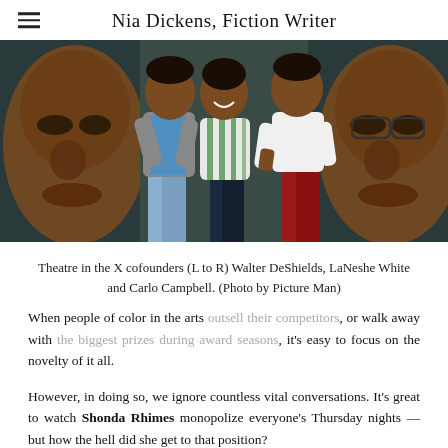Nia Dickens, Fiction Writer
[Figure (photo): Three people standing in front of a mural. Two men and one woman, smiling. The woman is in the center wearing a striped top. The man on the left wears a gray blazer over a blue shirt. The man on the right wears a white t-shirt and red pants. Behind them is a large painted mural of a face.]
Theatre in the X cofounders (L to R) Walter DeShields, LaNeshe White and Carlo Campbell. (Photo by Picture Man)
When people of color in the arts outsell their competitors, or walk away with the biggest prizes during award seasons, it's easy to focus on the novelty of it all.
However, in doing so, we ignore countless vital conversations. It's great to watch Shonda Rhimes monopolize everyone's Thursday nights — but how the hell did she get to that position?